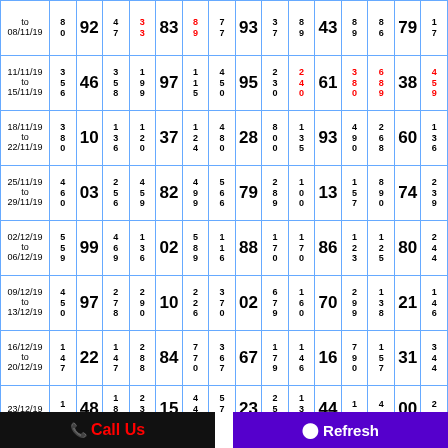| Date |  |  |  |  |  |  |  |  |  |  |  |  |  |  |  |
| --- | --- | --- | --- | --- | --- | --- | --- | --- | --- | --- | --- | --- | --- | --- | --- |
| to 08/11/19 | 80 | 92 | 47 | 33 | 83 | 89 | 77 | 93 | 37 | 89 | 43 | 89 | 86 | 79 | 17 |
| 11/11/19 to 15/11/19 | 356 | 46 | 358 | 199 | 97 | 115 | 450 | 95 | 230 | 240 | 61 | 380 | 689 | 38 | 459 |
| 18/11/19 to 22/11/19 | 380 | 10 | 136 | 120 | 37 | 124 | 480 | 28 | 800 | 135 | 93 | 490 | 268 | 60 | 136 |
| 25/11/19 to 29/11/19 | 460 | 03 | 256 | 459 | 82 | 499 | 566 | 79 | 289 | 100 | 13 | 157 | 890 | 74 | 239 |
| 02/12/19 to 06/12/19 | 559 | 99 | 469 | 136 | 02 | 589 | 116 | 88 | 170 | 170 | 86 | 123 | 125 | 80 | 244 |
| 09/12/19 to 13/12/19 | 450 | 97 | 278 | 290 | 10 | 226 | 370 | 02 | 679 | 160 | 70 | 299 | 138 | 21 | 146 |
| 16/12/19 to 20/12/19 | 147 | 22 | 147 | 288 | 84 | 770 | 367 | 67 | 179 | 146 | 16 | 790 | 157 | 31 | 344 |
| 23/12/19 | 12 | 48 | 189 | 236 | 15 | 447 | 570 | 23 | 256 | 130 | 44 | 15 | 47 | 00 | 28 |